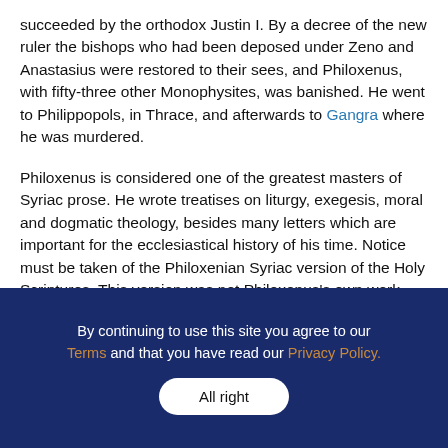succeeded by the orthodox Justin I. By a decree of the new ruler the bishops who had been deposed under Zeno and Anastasius were restored to their sees, and Philoxenus, with fifty-three other Monophysites, was banished. He went to Philippopols, in Thrace, and afterwards to Gangra where he was murdered.
Philoxenus is considered one of the greatest masters of Syriac prose. He wrote treatises on liturgy, exegesis, moral and dogmatic theology, besides many letters which are important for the ecclesiastical history of his time. Notice must be taken of the Philoxenian Syriac version of the Holy Scriptures. This version was not Philoxenus's own work, but was made, upon his request and under his direction, by the
By continuing to use this site you agree to our Terms and that you have read our Privacy Policy.
All right